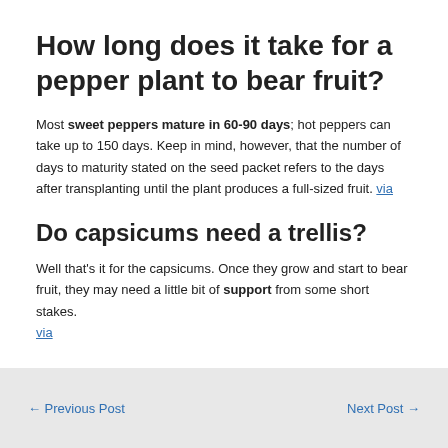How long does it take for a pepper plant to bear fruit?
Most sweet peppers mature in 60-90 days; hot peppers can take up to 150 days. Keep in mind, however, that the number of days to maturity stated on the seed packet refers to the days after transplanting until the plant produces a full-sized fruit. via
Do capsicums need a trellis?
Well that's it for the capsicums. Once they grow and start to bear fruit, they may need a little bit of support from some short stakes. via
← Previous Post    Next Post →